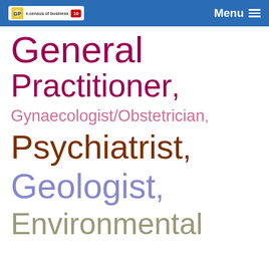Menu
General Practitioner,
Gynaecologist/Obstetrician,
Psychiatrist,
Geologist,
Environmental